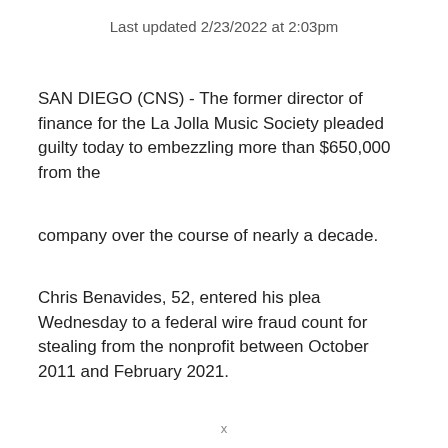Last updated 2/23/2022 at 2:03pm
SAN DIEGO (CNS) - The former director of finance for the La Jolla Music Society pleaded guilty today to embezzling more than $650,000 from the
company over the course of nearly a decade.
Chris Benavides, 52, entered his plea Wednesday to a federal wire fraud count for stealing from the nonprofit between October 2011 and February 2021.
x